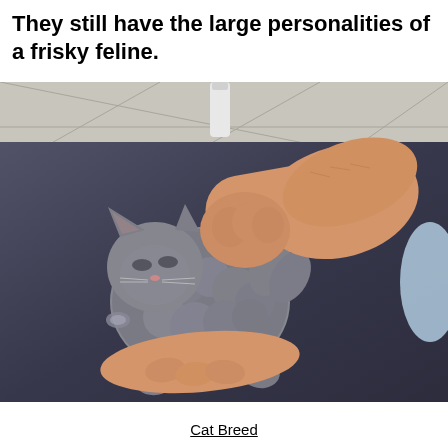They still have the large personalities of a frisky feline.
[Figure (photo): A small fluffy gray kitten lying on its back being held and scratched by a person's hand, on a dark fabric surface with tiled floor in the background.]
Cat Breed